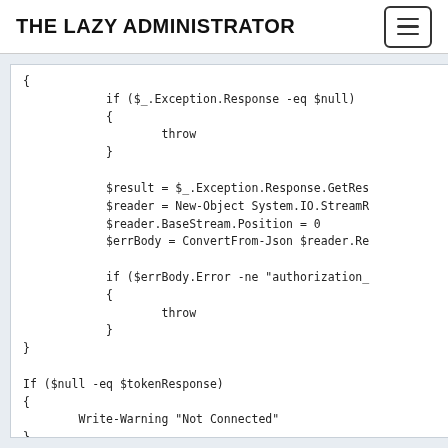THE LAZY ADMINISTRATOR
{
            if ($_.Exception.Response -eq $null)
            {
                    throw
            }

            $result = $_.Exception.Response.GetRes
            $reader = New-Object System.IO.StreamR
            $reader.BaseStream.Position = 0
            $errBody = ConvertFrom-Json $reader.Re

            if ($errBody.Error -ne "authorization_
            {
                    throw
            }
}

If ($null -eq $tokenResponse)
{
        Write-Warning "Not Connected"
}
Else